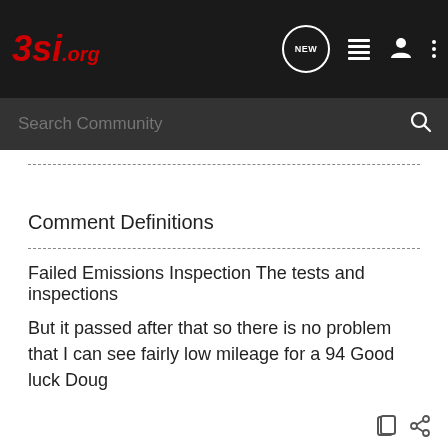[Figure (screenshot): 3si.org website header with logo and navigation icons including NEW chat bubble, list icon, user icon, and more options icon]
[Figure (screenshot): Dark search bar with 'Search Community' placeholder text and search icon]
----------------------------------------------------------------------------------------------------
Comment Definitions
----------------------------------------------------------------------------------------------------
Failed Emissions Inspection The tests and inspections
But it passed after that so there is no problem that I can see fairly low mileage for a 94 Good luck Doug